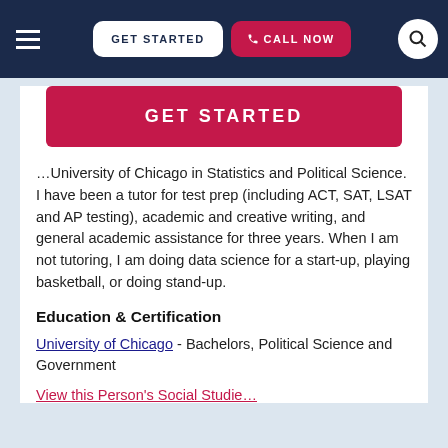GET STARTED | CALL NOW
[Figure (screenshot): Pink GET STARTED button]
…University of Chicago in Statistics and Political Science. I have been a tutor for test prep (including ACT, SAT, LSAT and AP testing), academic and creative writing, and general academic assistance for three years. When I am not tutoring, I am doing data science for a start-up, playing basketball, or doing stand-up.
Education & Certification
University of Chicago - Bachelors, Political Science and Government
View this Person's Social Studie…